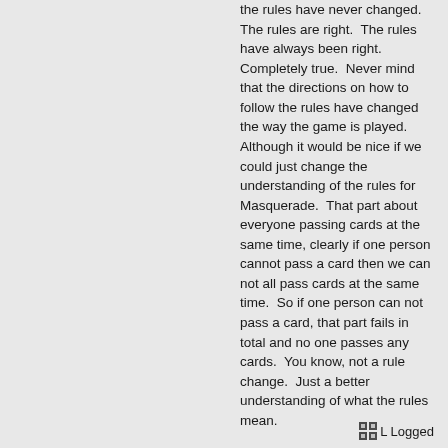the rules have never changed.  The rules are right.  The rules have always been right.  Completely true.  Never mind that the directions on how to follow the rules have changed the way the game is played.  Although it would be nice if we could just change the understanding of the rules for Masquerade.  That part about everyone passing cards at the same time, clearly if one person cannot pass a card then we can not all pass cards at the same time.  So if one person can not pass a card, that part fails in total and no one passes any cards.  You know, not a rule change.  Just a better understanding of what the rules mean.
Logged